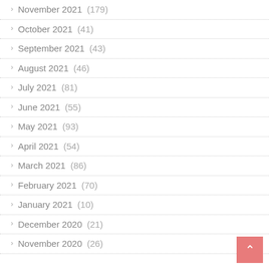November 2021 (179)
October 2021 (41)
September 2021 (43)
August 2021 (46)
July 2021 (81)
June 2021 (55)
May 2021 (93)
April 2021 (54)
March 2021 (86)
February 2021 (70)
January 2021 (10)
December 2020 (21)
November 2020 (26)